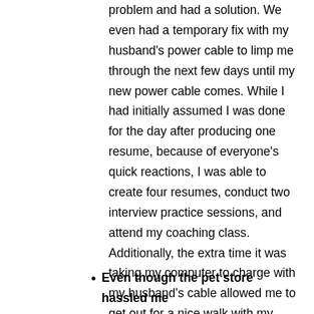problem and had a solution. We even had a temporary fix with my husband's power cable to limp me through the next few days until my new power cable comes. While I had initially assumed I was done for the day after producing one resume, because of everyone's quick reactions, I was able to create four resumes, conduct two interview practice sessions, and attend my coaching class. Additionally, the extra time it was taking my computer to charge with my husband's cable allowed me to get out for a nice walk with my neighbor.
Even though the pet store hassled me